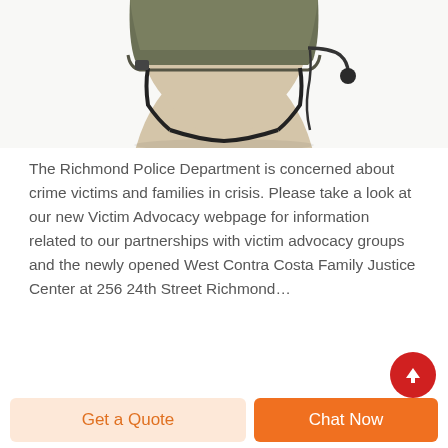[Figure (photo): Partial view of a mannequin head wearing a military/tactical helmet with chin strap and microphone, cropped to show lower face and neck area on white background.]
The Richmond Police Department is concerned about crime victims and families in crisis. Please take a look at our new Victim Advocacy webpage for information related to our partnerships with victim advocacy groups and the newly opened West Contra Costa Family Justice Center at 256 24th Street Richmond…